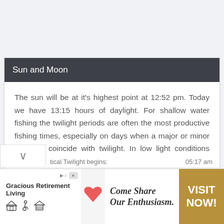Sun and Moon
The sun will be at it's highest point at 12:52 pm. Today we have 13:15 hours of daylight. For shallow water fishing the twilight periods are often the most productive fishing times, especially on days when a major or minor time will coincide with twilight. In low light conditions predators have better cover for their ambush and often hunt in shallow water.
[Figure (screenshot): Partially visible row showing 'tical Twilight begins:' label on the left and '05:17 am' time on the right, with a chevron/expand button.]
[Figure (infographic): Advertisement banner for Gracious Retirement Living showing heart logo, accessibility icons, and tagline 'Come Share Our Enthusiasm.' with a gold 'VISIT NOW!' call-to-action button.]